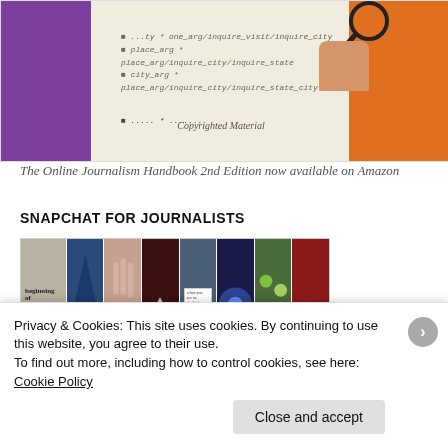[Figure (photo): Book cover image of The Online Journalism Handbook 2nd Edition showing purple, beige, and orange sections with text and a hand holding a magnifying glass]
The Online Journalism Handbook 2nd Edition now available on Amazon
SNAPCHAT FOR JOURNALISTS
[Figure (photo): A grid of Snapchat-style images showing road trip, night scenes, hands, concert, note, blue light, flowers, and red image thumbnails]
Privacy & Cookies: This site uses cookies. By continuing to use this website, you agree to their use.
To find out more, including how to control cookies, see here: Cookie Policy
Close and accept